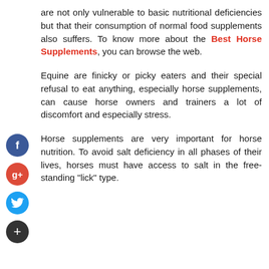are not only vulnerable to basic nutritional deficiencies but that their consumption of normal food supplements also suffers. To know more about the Best Horse Supplements, you can browse the web.
Equine are finicky or picky eaters and their special refusal to eat anything, especially horse supplements, can cause horse owners and trainers a lot of discomfort and especially stress.
Horse supplements are very important for horse nutrition. To avoid salt deficiency in all phases of their lives, horses must have access to salt in the free-standing "lick" type.